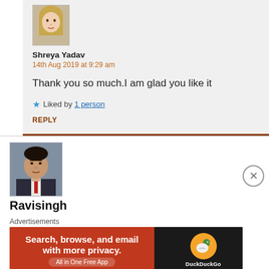[Figure (photo): Avatar photo of Shreya Yadav, a young woman with blonde hair]
Shreya Yadav
14th Aug 2019 at 9:29 am
Thank you so much.I am glad you like it
★ Liked by 1 person
REPLY
[Figure (photo): Avatar photo of Ravisingh, a man in a suit with a red tie]
Ravisingh
Advertisements
[Figure (other): DuckDuckGo advertisement banner: Search, browse, and email with more privacy. All in One Free App]